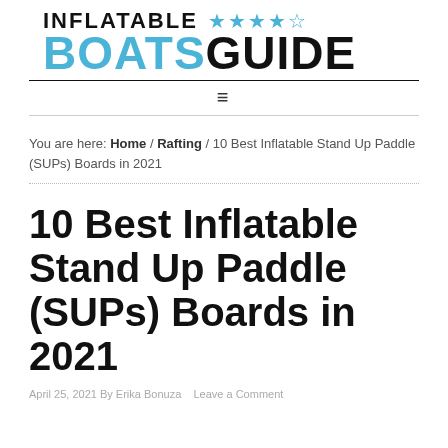[Figure (logo): Inflatable Boats Guide logo with blue stars and two-tone bold text]
≡
You are here: Home / Rafting / 10 Best Inflatable Stand Up Paddle (SUPs) Boards in 2021
10 Best Inflatable Stand Up Paddle (SUPs) Boards in 2021
April 25, 2021 By Erika Bonuza   Leave a Comment